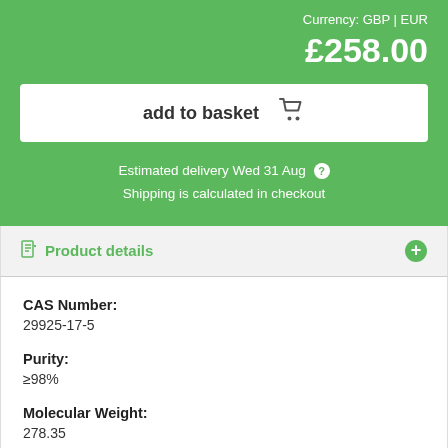Currency: GBP | EUR
£258.00
add to basket
Estimated delivery Wed 31 Aug ? Shipping is calculated in checkout
Product details
CAS Number:
29925-17-5
Purity:
≥98%
Molecular Weight:
278.35